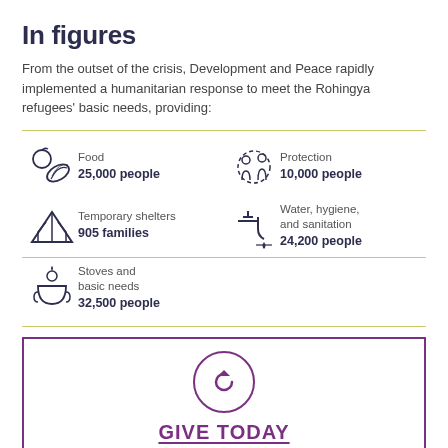In figures
From the outset of the crisis, Development and Peace rapidly implemented a humanitarian response to meet the Rohingya refugees' basic needs, providing:
[Figure (infographic): Six icons with statistics: Food 25,000 people; Protection 10,000 people; Temporary shelters 905 families; Water, hygiene, and sanitation 24,200 people; Stoves and basic needs 32,500 people]
[Figure (infographic): Call to action box with purple circle icon and GIVE TODAY text]